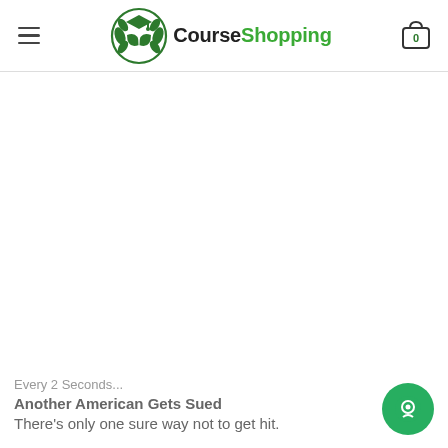CourseShopping — navigation header with logo and cart icon showing 0
[Figure (logo): CourseShopping logo with green open book and laurel wreath icon, text 'Course' in black bold and 'Shopping' in green bold]
Every 2 Seconds...
Another American Gets Sued
There's only one sure way not to get hit.